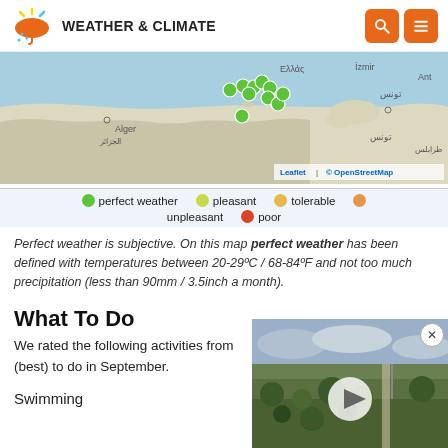WEATHER & CLIMATE
[Figure (map): Interactive map showing Mediterranean region with green dots indicating locations with perfect weather in September. Locations visible include Alger, Tunisia, Greece (Ελλάς), İzmir area.]
Legend: perfect weather (green), pleasant (yellow-green), tolerable (yellow-orange), unpleasant (orange), poor (red-orange)
Perfect weather is subjective. On this map perfect weather has been defined with temperatures between 20-29ºC / 68-84ºF and not too much precipitation (less than 90mm / 3.5inch a month).
What To Do
We rated the following activities from (best) to do in September.
Swimming